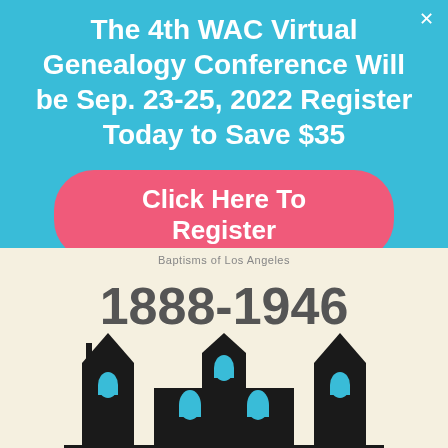The 4th WAC Virtual Genealogy Conference Will be Sep. 23-25, 2022 Register Today to Save $35
Click Here To Register
[Figure (illustration): Bottom half shows a vintage document or book cover illustration with the years '1888-1946' in large bold text, and a black silhouette of a church building below, on a cream/yellowed background. Faint text at top reads 'Baptisms of Los Angeles' or similar.]